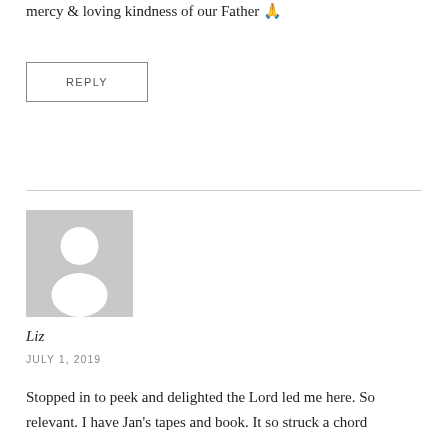mercy & loving kindness of our Father 🙏
REPLY
[Figure (illustration): Generic user avatar placeholder: grey square with white silhouette of a person (circle head, rounded shoulders)]
Liz
JULY 1, 2019
Stopped in to peek and delighted the Lord led me here. So relevant. I have Jan's tapes and book. It so struck a chord